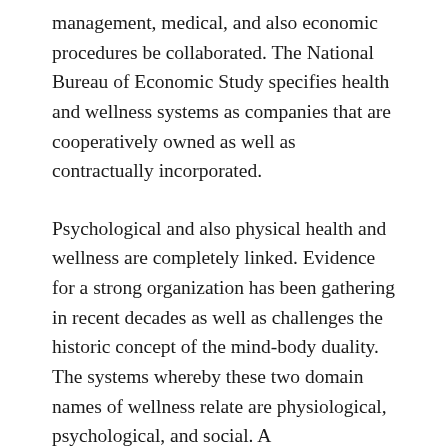management, medical, and also economic procedures be collaborated. The National Bureau of Economic Study specifies health and wellness systems as companies that are cooperatively owned as well as contractually incorporated.
Psychological and also physical health and wellness are completely linked. Evidence for a strong organization has been gathering in recent decades as well as challenges the historic concept of the mind-body duality. The systems whereby these two domain names of wellness relate are physiological, psychological, and social. A biopsychosocial model of wellness defines these interactions and their mutual